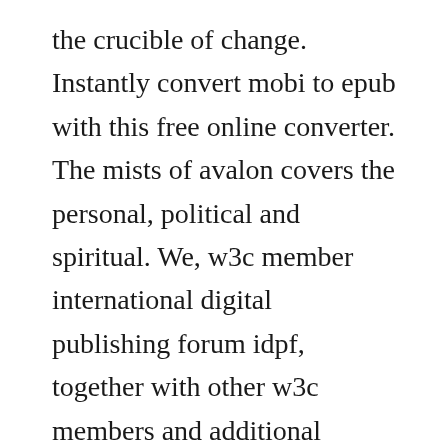the crucible of change. Instantly convert mobi to epub with this free online converter. The mists of avalon covers the personal, political and spiritual. We, w3c member international digital publishing forum idpf, together with other w3c members and additional contributors listed below, submit to the consortium the following specification, comprising the following documents attached hereto. Bradleys first published novellength work was falcons of narabedla, first published in the may 1957 issue of other worlds. Click the upload files button and select up to 20